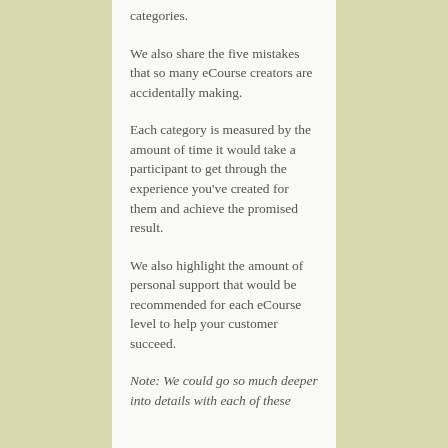categories.
We also share the five mistakes that so many eCourse creators are accidentally making.
Each category is measured by the amount of time it would take a participant to get through the experience you’ve created for them and achieve the promised result.
We also highlight the amount of personal support that would be recommended for each eCourse level to help your customer succeed.
Note: We could go so much deeper into details with each of these